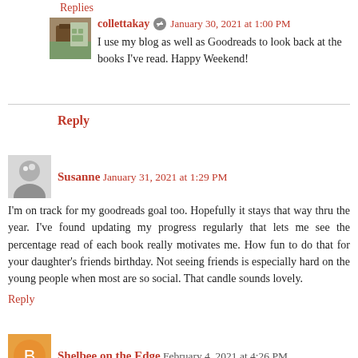Replies
collettakay  January 30, 2021 at 1:00 PM
I use my blog as well as Goodreads to look back at the books I've read. Happy Weekend!
Reply
Susanne  January 31, 2021 at 1:29 PM
I'm on track for my goodreads goal too. Hopefully it stays that way thru the year. I've found updating my progress regularly that lets me see the percentage read of each book really motivates me. How fun to do that for your daughter's friends birthday. Not seeing friends is especially hard on the young people when most are so social. That candle sounds lovely.
Reply
Shelbee on the Edge  February 4, 2021 at 4:26 PM